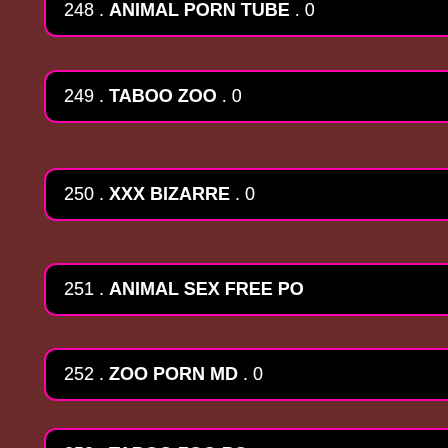248 . ANIMAL PORN TUBE . 0
249 . TABOO ZOO . 0
250 . XXX BIZARRE . 0
251 . ANIMAL SEX FREE PO
252 . ZOO PORN MD . 0
253 . TABOO ZOO PO
254 . ZOO FB .
255 . ANIMAL SEX TU
[Figure (other): Black loading overlay panel with circular orange dotted spinner animation in center-right area]